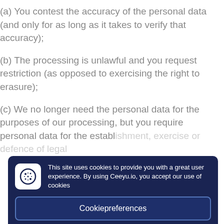(a) You contest the accuracy of the personal data (and only for as long as it takes to verify that accuracy);
(b) The processing is unlawful and you request restriction (as opposed to exercising the right to erasure);
(c) We no longer need the personal data for the purposes of our processing, but you require personal data for the establishment, exercise or defence of legal claims; or
[Figure (screenshot): Cookie consent modal overlay with dark navy background. Contains cookie icon, message about site cookies, 'Cookiepreferences' button, and 'OK' button.]